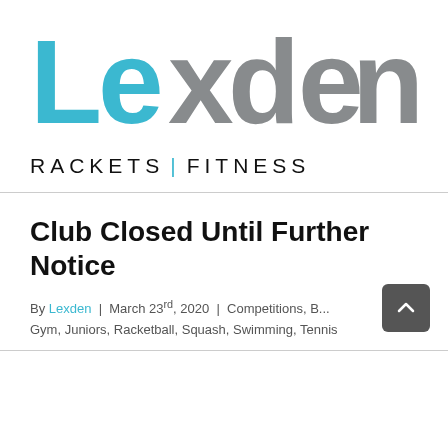[Figure (logo): Lexden Rackets | Fitness logo. 'Lexden' in large letters with 'Lex' in teal/blue and 'den' in gray, followed by 'RACKETS | FITNESS' in black spaced capitals with a teal pipe separator.]
Club Closed Until Further Notice
By Lexden  |  March 23rd, 2020  |  Competitions, B... Gym, Juniors, Racketball, Squash, Swimming, Tennis